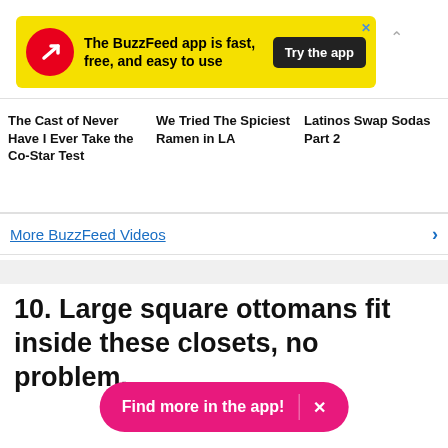[Figure (infographic): BuzzFeed app advertisement banner with yellow background, red circular logo with white arrow, text 'The BuzzFeed app is fast, free, and easy to use', and black 'Try the app' button]
The Cast of Never Have I Ever Take the Co-Star Test
We Tried The Spiciest Ramen in LA
Latinos Swap Sodas Part 2
More BuzzFeed Videos
10. Large square ottomans fit inside these closets, no problem.
Find more in the app!